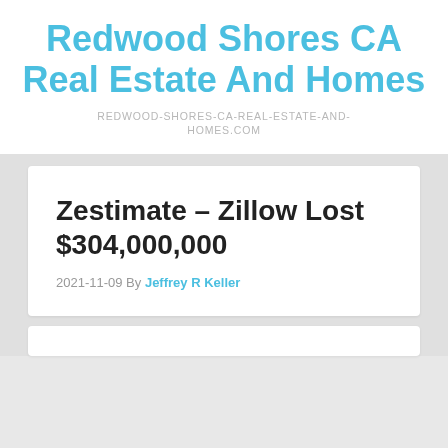Redwood Shores CA Real Estate And Homes
REDWOOD-SHORES-CA-REAL-ESTATE-AND-HOMES.COM
Zestimate – Zillow Lost $304,000,000
2021-11-09 By Jeffrey R Keller